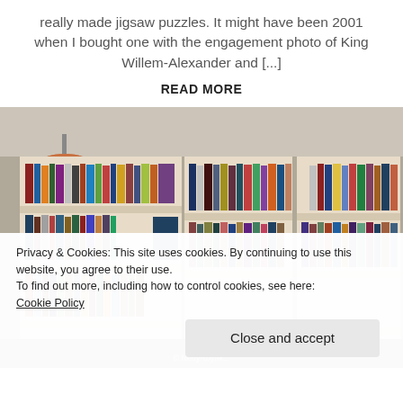really made jigsaw puzzles. It might have been 2001 when I bought one with the engagement photo of King Willem-Alexander and [...]
READ MORE
[Figure (photo): Photograph of tall wooden bookshelves filled with many books in a home library setting, with a pendant lamp visible on the left.]
Privacy & Cookies: This site uses cookies. By continuing to use this website, you agree to their use.
To find out more, including how to control cookies, see here:
Cookie Policy
Close and accept